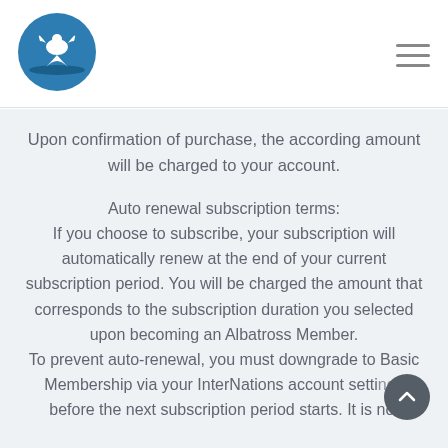[Figure (logo): InterNations logo: white dove/bird silhouette inside a blue circle, with a horizontal line beneath the bird suggesting water]
Upon confirmation of purchase, the according amount will be charged to your account.
Auto renewal subscription terms:
If you choose to subscribe, your subscription will automatically renew at the end of your current subscription period. You will be charged the amount that corresponds to the subscription duration you selected upon becoming an Albatross Member. To prevent auto-renewal, you must downgrade to Basic Membership via your InterNations account settings before the next subscription period starts. It is not